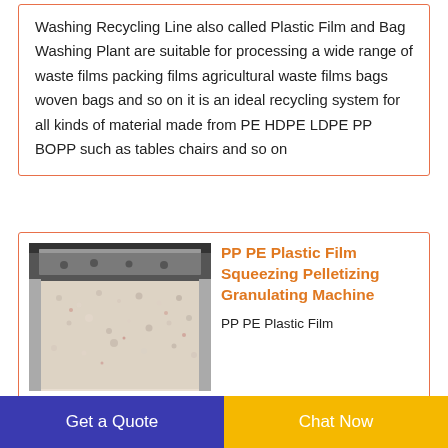Washing Recycling Line also called Plastic Film and Bag Washing Plant are suitable for processing a wide range of waste films packing films agricultural waste films bags woven bags and so on it is an ideal recycling system for all kinds of material made from PE HDPE LDPE PP BOPP such as tables chairs and so on
[Figure (photo): Photo of PP PE Plastic Film Squeezing Pelletizing Granulating Machine showing granulated white/pink plastic material in a tray under a metal press.]
PP PE Plastic Film Squeezing Pelletizing Granulating Machine
PP PE Plastic Film Squeezing Pelletizing Granulating Machine PP PE Plastic
Get a Quote   Chat Now